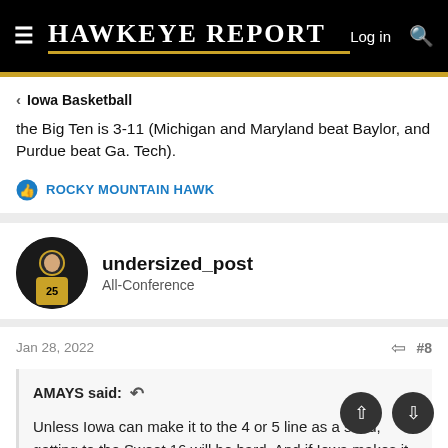Hawkeye Report — Log in
the Big Ten is 3-11 (Michigan and Maryland beat Baylor, and Purdue beat Ga. Tech).
ROCKY MOUNTAIN HAWK
undersized_post
All-Conference
Jan 28, 2022   #8
AMAYS said:
Unless Iowa can make it to the 4 or 5 line as a seed, getting to the Sweet 16 will be hard. And if Iowa makes it to the Sweet 16...